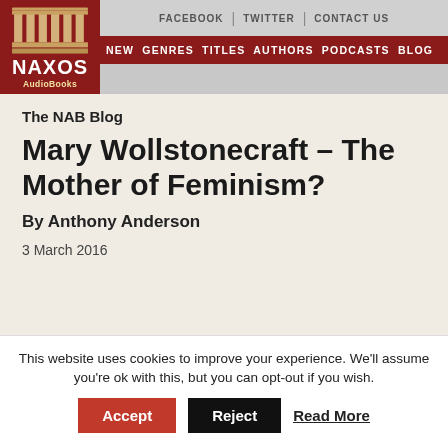NAXOS AudioBooks — FACEBOOK | TWITTER | CONTACT US — NEW GENRES TITLES AUTHORS PODCASTS BLOG
The NAB Blog
Mary Wollstonecraft – The Mother of Feminism?
By Anthony Anderson
3 March 2016
This website uses cookies to improve your experience. We'll assume you're ok with this, but you can opt-out if you wish. Accept Reject Read More